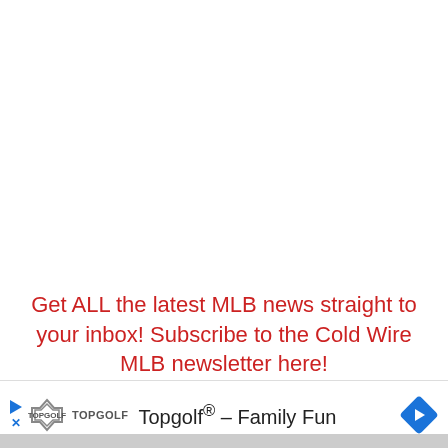Get ALL the latest MLB news straight to your inbox! Subscribe to the Cold Wire MLB newsletter here!
Recent News
[Figure (screenshot): Topgolf advertisement banner: Topgolf® – Family Fun with play button and navigation arrow icons]